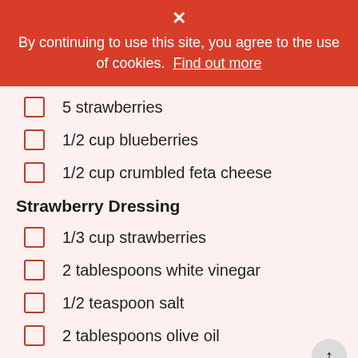× By continuing to use this site, you agree to the use of cookies. Find out more
5 strawberries
1/2 cup blueberries
1/2 cup crumbled feta cheese
Strawberry Dressing
1/3 cup strawberries
2 tablespoons white vinegar
1/2 teaspoon salt
2 tablespoons olive oil